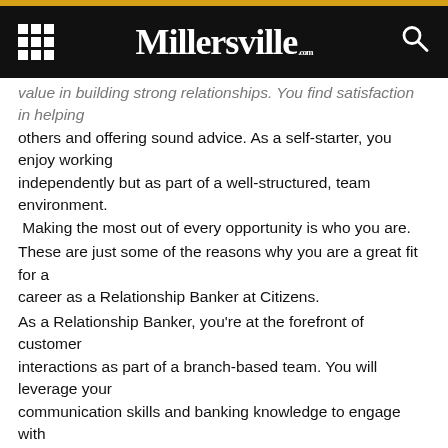Millersville.com
value in building strong relationships. You find satisfaction in helping others and offering sound advice. As a self-starter, you enjoy working independently but as part of a well-structured, team environment. Making the most out of every opportunity is who you are.
These are just some of the reasons why you are a great fit for a career as a Relationship Banker at Citizens.
As a Relationship Banker, you're at the forefront of customer interactions as part of a branch-based team. You will leverage your communication skills and banking knowledge to engage with customers. By understanding a customer's needs, you will provide financial solutions and advice to resolve issues and help customers achieve their financial goals.
A Day In The Life Of A Relationship Banker
Work closely with new and existing customers to understand their financial needs and deepen relationships.
Provide recommendations and assist customers with a wide-array of financial solutions to satisfy their spending, saving and